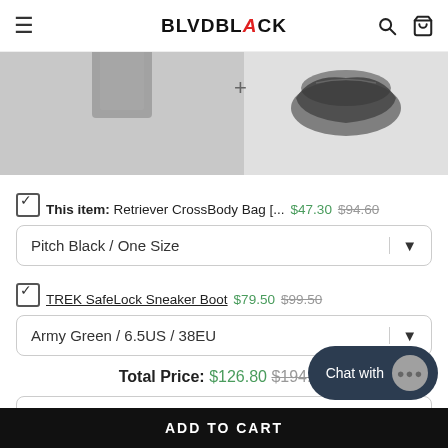BLVDBLACK
[Figure (photo): Two product images: a grey crossbody bag on the left and a black sneaker boot on the right, separated by a + symbol]
This item: Retriever CrossBody Bag [... $47.30 $94.60
Pitch Black / One Size (dropdown)
TREK SafeLock Sneaker Boot $79.50 $99.50
Army Green / 6.5US / 38EU (dropdown)
Total Price: $126.80 $194.10
Add to Cart
ADD TO CART